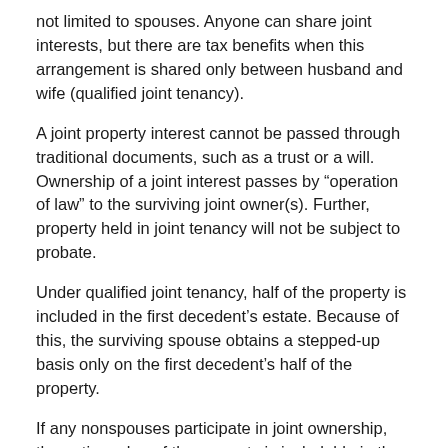not limited to spouses. Anyone can share joint interests, but there are tax benefits when this arrangement is shared only between husband and wife (qualified joint tenancy).
A joint property interest cannot be passed through traditional documents, such as a trust or a will. Ownership of a joint interest passes by “operation of law” to the surviving joint owner(s). Further, property held in joint tenancy will not be subject to probate.
Under qualified joint tenancy, half of the property is included in the first decedent’s estate. Because of this, the surviving spouse obtains a stepped-up basis only on the first decedent’s half of the property.
If any nonspouses participate in joint ownership, the entire value of the property is includable in the decedent's estate, reduced to the extent that the estate can prove that the surviving tenant(s) contributed to the cost of the property.